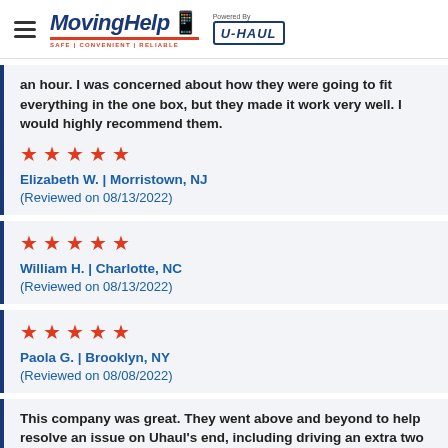MovingHelp | Powered by U-HAUL
an hour. I was concerned about how they were going to fit everything in the one box, but they made it work very well. I would highly recommend them.
★ ★ ★ ★ ★
Elizabeth W. | Morristown, NJ
(Reviewed on 08/13/2022)
★ ★ ★ ★ ★
William H. | Charlotte, NC
(Reviewed on 08/13/2022)
★ ★ ★ ★ ★
Paola G. | Brooklyn, NY
(Reviewed on 08/08/2022)
This company was great. They went above and beyond to help resolve an issue on Uhaul's end, including driving an extra two hours to get our Ubox for delivery and load